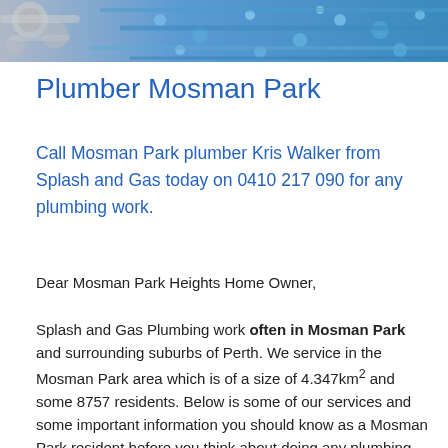[Figure (photo): Banner image showing plumbing pipes and fittings in blue and silver tones]
Plumber Mosman Park
Call Mosman Park plumber Kris Walker from Splash and Gas today on 0410 217 090 for any plumbing work.
Dear Mosman Park Heights Home Owner,
Splash and Gas Plumbing work often in Mosman Park and surrounding suburbs of Perth. We service in the Mosman Park area which is of a size of 4.347km² and some 8757 residents. Below is some of our services and some important information you should know as a Mosman Park resident before you think about doing any plumbing work or hiring any plumber.